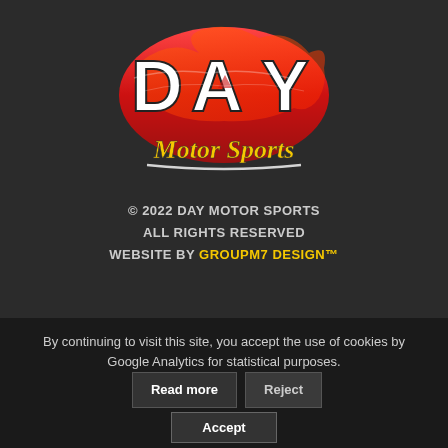[Figure (logo): Day Motor Sports logo with red stylized DAY letters and yellow cursive 'Motor Sports' text below]
© 2022 DAY MOTOR SPORTS
ALL RIGHTS RESERVED
WEBSITE BY GROUPM7 DESIGN™
COMPANY
6100 US HIGHWAY 69 N
TYLER, TEXAS 75706
M-TH 8:30 AM – 5:30 PM (CT)
By continuing to visit this site, you accept the use of cookies by Google Analytics for statistical purposes.